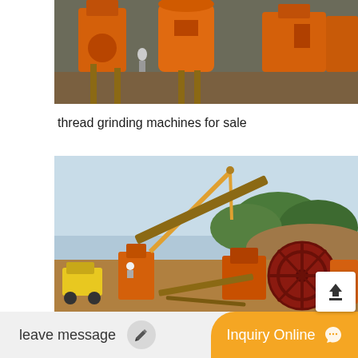[Figure (photo): Outdoor industrial site with large orange grinding/crushing machines on dirt ground with stone wall in background]
thread grinding machines for sale
[Figure (photo): Industrial mining/crushing site with orange machinery, large red flywheel, crane arm, conveyor belts, and yellow bulldozer on dirt terrain with trees in background]
leave message  |  Inquiry Online